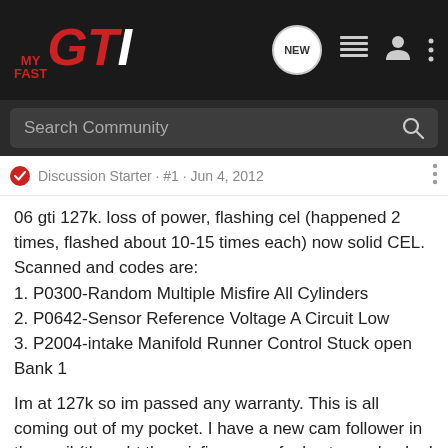[Figure (logo): MyFastGTI logo in red and white on dark navbar]
Search Community
Discussion Starter · #1 · Jun 4, 2012
06 gti 127k. loss of power, flashing cel (happened 2 times, flashed about 10-15 times each) now solid CEL. Scanned and codes are:
1. P0300-Random Multiple Misfire All Cylinders
2. P0642-Sensor Reference Voltage A Circuit Low
3. P2004-intake Manifold Runner Control Stuck open Bank 1
Im at 127k so im passed any warranty. This is all coming out of my pocket. I have a new cam follower in the mail (thought the misfires were fuel cuts so checked follower and it was on its way out) I know theres extended warranties and this and that but it no longer applies to me. SO.. where or what should I start with? please give me your best advice I use my car for work every day and this is going to be a massive problem if I dont get